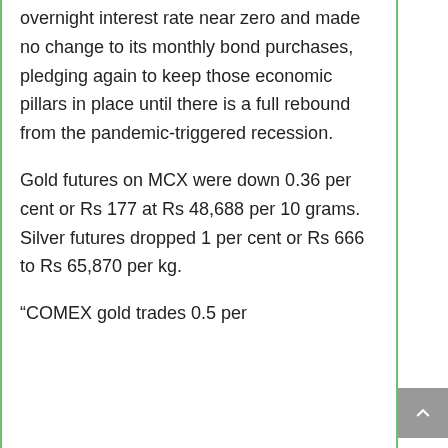overnight interest rate near zero and made no change to its monthly bond purchases, pledging again to keep those economic pillars in place until there is a full rebound from the pandemic-triggered recession.
Gold futures on MCX were down 0.36 per cent or Rs 177 at Rs 48,688 per 10 grams. Silver futures dropped 1 per cent or Rs 666 to Rs 65,870 per kg.
“COMEX gold trades 0.5 per